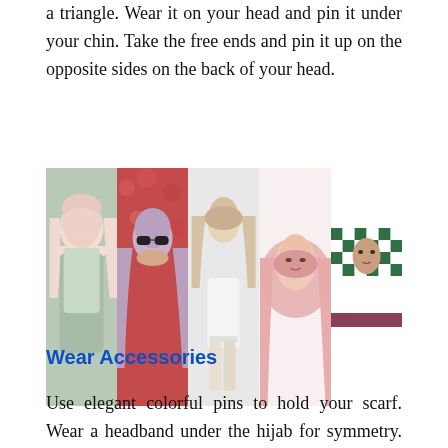a triangle. Wear it on your head and pin it under your chin. Take the free ends and pin it up on the opposite sides on the back of your head.
[Figure (photo): Collage of five women wearing hijabs in various styles and colors: pale pink hijab with mint outfit, lavender hijab with sunglasses, beige/nude hijab with white outfit, pink hijab close-up portrait, and checkered green/white hijab.]
Wear Accessories
Use elegant colorful pins to hold your scarf. Wear a headband under the hijab for symmetry. Use stylish